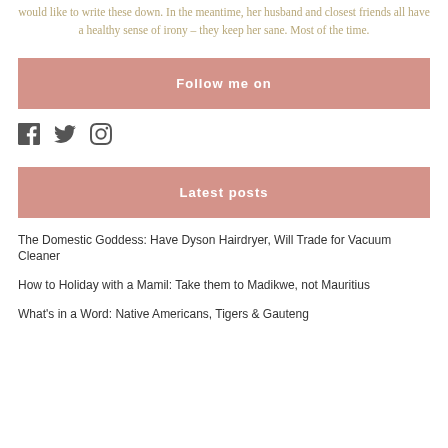would like to write these down. In the meantime, her husband and closest friends all have a healthy sense of irony – they keep her sane. Most of the time.
Follow me on
[Figure (illustration): Social media icons: Facebook, Twitter, Instagram]
Latest posts
The Domestic Goddess: Have Dyson Hairdryer, Will Trade for Vacuum Cleaner
How to Holiday with a Mamil: Take them to Madikwe, not Mauritius
What's in a Word: Native Americans, Tigers & Gauteng